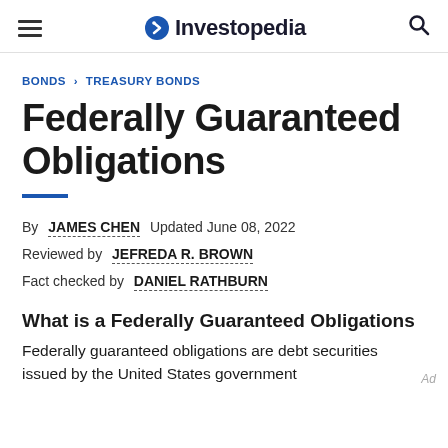Investopedia
BONDS > TREASURY BONDS
Federally Guaranteed Obligations
By JAMES CHEN  Updated June 08, 2022
Reviewed by JEFREDA R. BROWN
Fact checked by DANIEL RATHBURN
What is a Federally Guaranteed Obligations
Federally guaranteed obligations are debt securities issued by the United States government